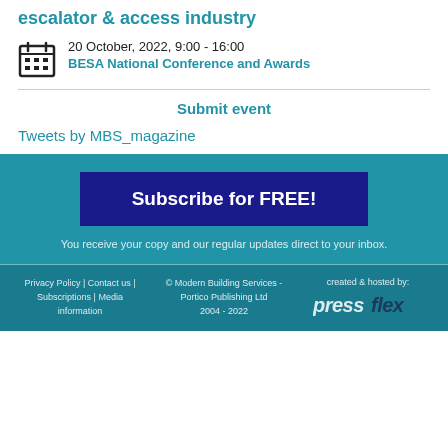escalator & access industry
20 October, 2022, 9:00 - 16:00
BESA National Conference and Awards
Submit event
Tweets by MBS_magazine
Subscribe for FREE!
You receive your copy and our regular updates direct to your inbox.
Privacy Policy | Contact us | Subscriptions | Media information   © Modern Building Services - Portico Publishing Ltd 2004 - 2022   created & hosted by: pressflex